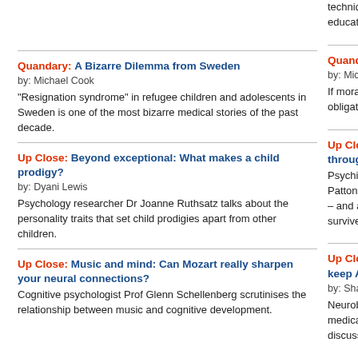technique raises… education profe…
Quandary: A Bizarre Dilemma from Sweden — by: Michael Cook — "Resignation syndrome" in refugee children and adolescents in Sweden is one of the most bizarre medical stories of the past decade.
Quandary: Tur… — by: Michael Co… — If moral bioenha… obligatory, who…
Up Close: Beyond exceptional: What makes a child prodigy? — by: Dyani Lewis — Psychology researcher Dr Joanne Ruthsatz talks about the personality traits that set child prodigies apart from other children.
Up Close: Hor… through puber… — Psychiatrist and… Patton, discuss… – and adolesc… survive the jour…
Up Close: Music and mind: Can Mozart really sharpen your neural connections? — Cognitive psychologist Prof Glenn Schellenberg scrutinises the relationship between music and cognitive development.
Up Close: Defe… keep Alzheime… — by: Shane Hur… — Neurobiologist… medical unders… discusses ong…